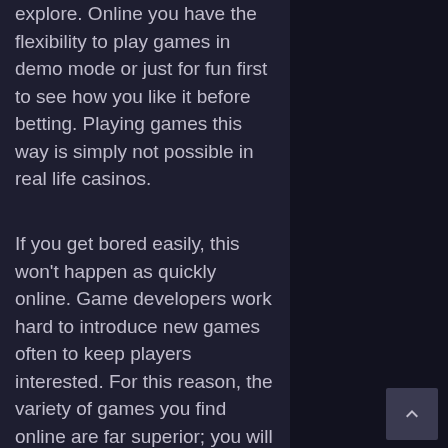explore. Online you have the flexibility to play games in demo mode or just for fun first to see how you like it before betting. Playing games this way is simply not possible in real life casinos.
If you get bored easily, this won't happen as quickly online. Game developers work hard to introduce new games often to keep players interested. For this reason, the variety of games you find online are far superior; you will find a game to suit any